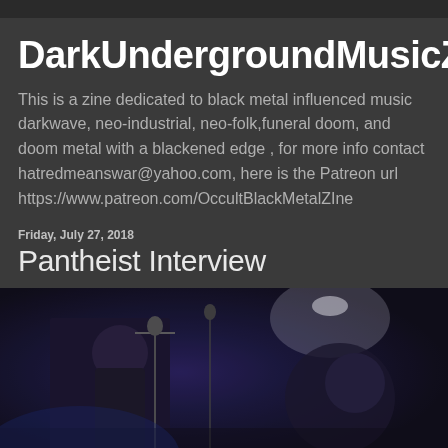DarkUndergroundMusicZine
This is a zine dedicated to black metal influenced music darkwave, neo-industrial, neo-folk,funeral doom, and doom metal with a blackened edge , for more info contact hatredmeanswar@yahoo.com, here is the Patreon url https://www.patreon.com/OccultBlackMetalZIne
Friday, July 27, 2018
Pantheist Interview
[Figure (photo): Concert photo showing band members performing on stage with microphone stands, in dark atmospheric lighting with blue/purple tones]